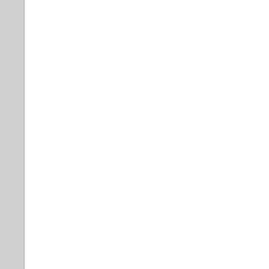Delhi.
Videocon Sharp Airconditioner Repair & Service centre Delhi.
Panasonic Sharp Airconditioner Repair & Service centre Delhi.
Electrolux Sharp Airconditioner Repair & Service centre Delhi.
Daikin Sharp Airconditioner Repair & Service centre